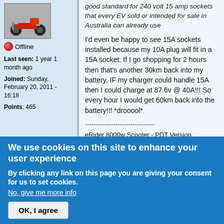[Figure (photo): Small avatar image of a red scooter/motorcycle]
Offline
Last seen: 1 year 1 month ago
Joined: Sunday, February 20, 2011 - 16:18
Points: 465
good standard for 240 volt 15 amp sockets that every EV sold or intended for sale in Australia can already use
I'd even be happy to see 15A sockets installed because my 10A plug will fit in a 15A socket. If I go shopping for 2 hours then that's another 30km back into my battery, IF my charger could handle 15A then I could charge at 87.6v @ 40A!!! So every hour I would get 60km back into the battery!!! *drooool*
--------------------------------
eRider 8000w Scooter - PDT Version
72v 50AH CHL battery
We use cookies on this site to enhance your user experience
By clicking any link on this page you are giving your consent for us to set cookies.
No, give me more info
OK, I agree